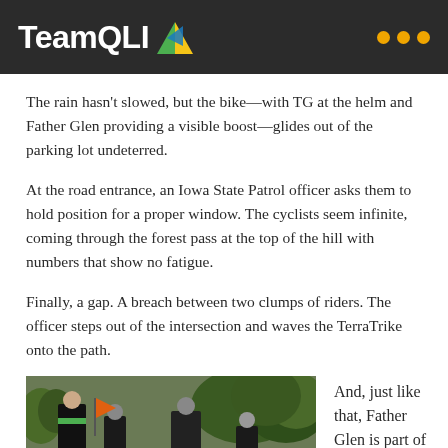TeamQLI
The rain hasn't slowed, but the bike—with TG at the helm and Father Glen providing a visible boost—glides out of the parking lot undeterred.
At the road entrance, an Iowa State Patrol officer asks them to hold position for a proper window. The cyclists seem infinite, coming through the forest pass at the top of the hill with numbers that show no fatigue.
Finally, a gap. A breach between two clumps of riders. The officer steps out of the intersection and waves the TerraTrike onto the path.
[Figure (photo): Photo of cyclists/people on a road with trees in background, including a person with an orange flag]
And, just like that, Father Glen is part of